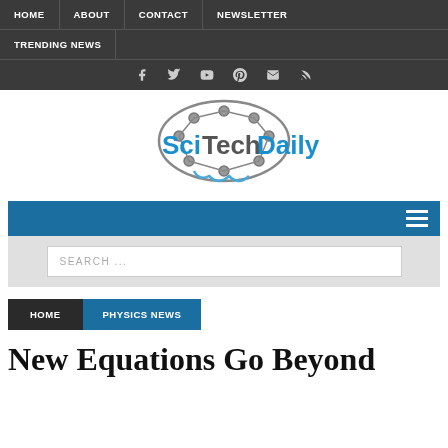HOME | ABOUT | CONTACT | NEWSLETTER | TRENDING NEWS
[Figure (logo): SciTechDaily logo with brain circuit graphic and blue text]
SEARCH ...
HOME | PHYSICS NEWS
New Equations Go Beyond